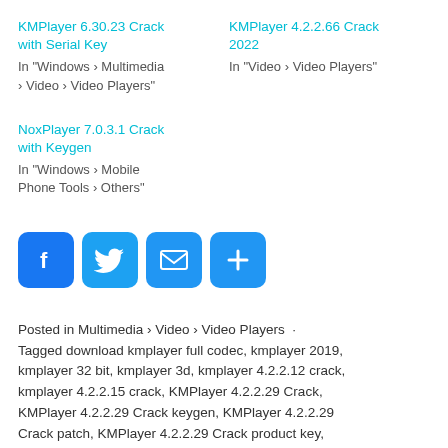KMPlayer 6.30.23 Crack with Serial Key
In "Windows › Multimedia › Video › Video Players"
KMPlayer 4.2.2.66 Crack 2022
In "Video › Video Players"
NoxPlayer 7.0.3.1 Crack with Keygen
In "Windows › Mobile Phone Tools › Others"
[Figure (infographic): Social share buttons: Facebook, Twitter, Email, Share (plus icon)]
Posted in Multimedia › Video › Video Players  ·  Tagged download kmplayer full codec, kmplayer 2019, kmplayer 32 bit, kmplayer 3d, kmplayer 4.2.2.12 crack, kmplayer 4.2.2.15 crack, KMPlayer 4.2.2.29 Crack, KMPlayer 4.2.2.29 Crack keygen, KMPlayer 4.2.2.29 Crack patch, KMPlayer 4.2.2.29 Crack product key, KMPlayer 4.2.2.29 Crack product number, KMPlayer